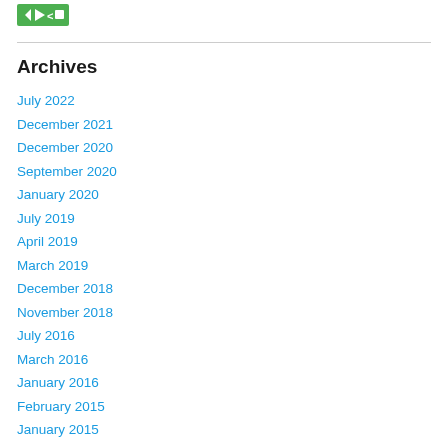[Figure (logo): Green logo with geometric shapes (arrows/icons) in a rectangular badge]
Archives
July 2022
December 2021
December 2020
September 2020
January 2020
July 2019
April 2019
March 2019
December 2018
November 2018
July 2016
March 2016
January 2016
February 2015
January 2015